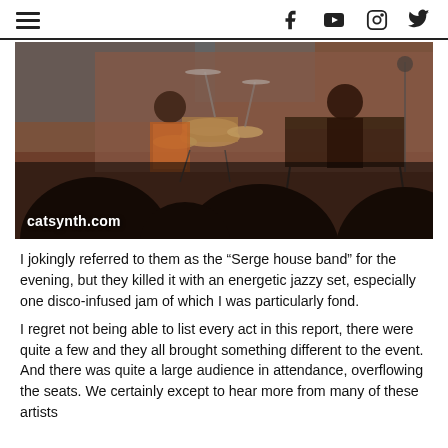catsynth.com — social media navigation header with hamburger menu, Facebook, YouTube, Instagram, Twitter icons
[Figure (photo): Concert performance photo showing musicians on stage with drums and keyboard/synthesizer equipment, audience silhouettes in foreground, warm sepia-toned lighting. Watermark reads catsynth.com]
I jokingly referred to them as the "Serge house band" for the evening, but they killed it with an energetic jazzy set, especially one disco-infused jam of which I was particularly fond.
I regret not being able to list every act in this report, there were quite a few and they all brought something different to the event. And there was quite a large audience in attendance, overflowing the seats. We certainly except to hear more from many of these artists